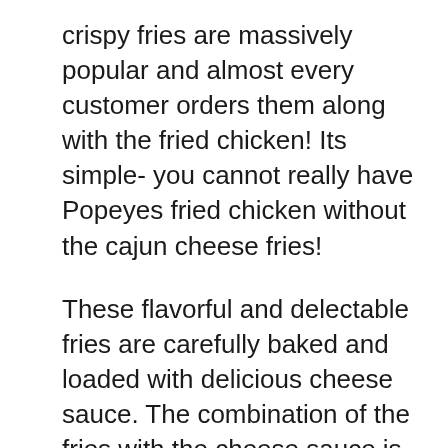crispy fries are massively popular and almost every customer orders them along with the fried chicken! Its simple- you cannot really have Popeyes fried chicken without the cajun cheese fries!
These flavorful and delectable fries are carefully baked and loaded with delicious cheese sauce. The combination of the fries with the cheese sauce is like nothing other and you will be craving for more after you are done with your side serving!
The cherry on the top is that these cajun cheese fries will taste well with about everything on the Popeyes main menu that includes fried chicken burgers, sandwiches and more. If you wish to have a Popeyes with